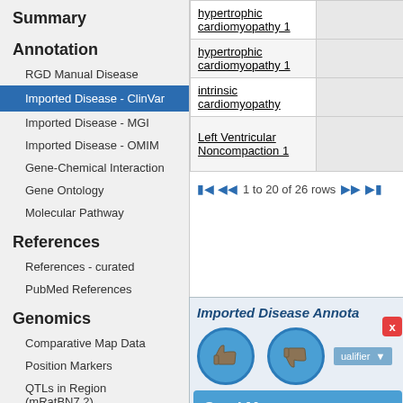Summary
Annotation
RGD Manual Disease
Imported Disease - ClinVar
Imported Disease - MGI
Imported Disease - OMIM
Gene-Chemical Interaction
Gene Ontology
Molecular Pathway
References
References - curated
PubMed References
Genomics
Comparative Map Data
Position Markers
QTLs in Region (mRatBN7.2)
miRNA Target Status
Expression
| Disease |  |
| --- | --- |
| hypertrophic cardiomyopathy 1 |  |
| hypertrophic cardiomyopathy 1 |  |
| intrinsic cardiomyopathy |  |
| Left Ventricular Noncompaction 1 |  |
1 to 20 of 26 rows
Imported Disease Annota...
[Figure (screenshot): Feedback thumbs up and thumbs down buttons with a close (x) button, qualifier column header, and a Send Message bar at the bottom. Below it shows 'right ventricular cardiomyopathy' as a link.]